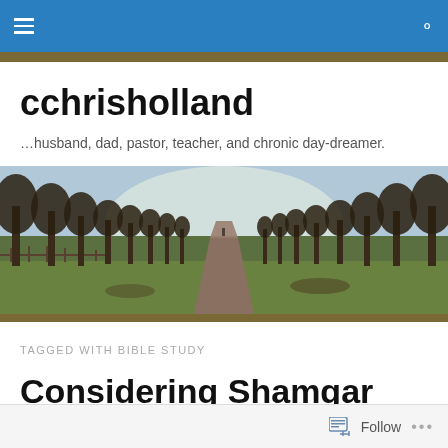cchrisholland – navigation bar
cchrisholland
…husband, dad, pastor, teacher, and chronic day-dreamer.
[Figure (photo): A tree-lined country path receding into the distance on a wintry day, with bare trees on either side and green grass, a wooden fence on the left, soft misty light ahead.]
TAGGED WITH BIBLE STUDY
Considering Shamgar
Follow  •••